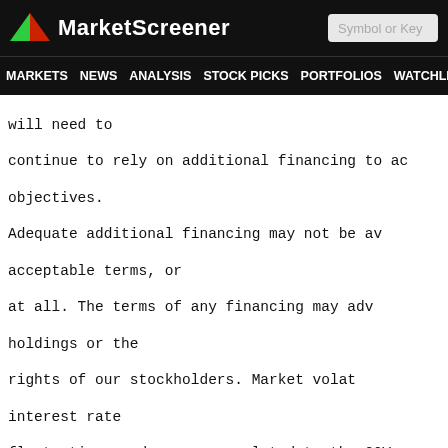MarketScreener | Symbol or Key
MARKETS NEWS ANALYSIS STOCK PICKS PORTFOLIOS WATCHLI
will need to continue to rely on additional financing to ac objectives. Adequate additional financing may not be av acceptable terms, or at all. The terms of any financing may adv holdings or the rights of our stockholders. Market volat interest rate fluctuations and concerns related to the COV have a significant impact on the availability of fu the terms on which any funding may be available. If we fail to